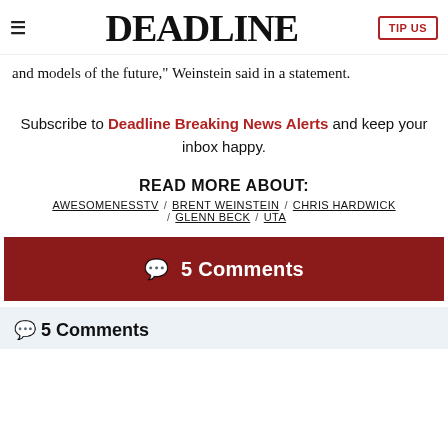DEADLINE | TIP US
and models of the future," Weinstein said in a statement.
Subscribe to Deadline Breaking News Alerts and keep your inbox happy.
READ MORE ABOUT:
AWESOMENESSTV / BRENT WEINSTEIN / CHRIS HARDWICK / GLENN BECK / UTA
💬 5 Comments
💬 5 Comments